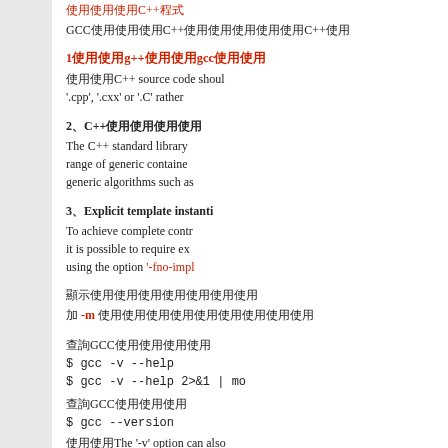使用GCC編譯C++程式
GCC也可以編譯C++程式以及連結所需的C++程式庫
1使用g++而非gcc編譯
使用C++ source code should be given a file extension of '.cpp', '.cxx' or '.C' rather than
2、C++標準程式庫
The C++ standard library provides a wide range of generic containers and generic algorithms such as
3、Explicit template instantiation
To achieve complete control over it is possible to require explicit using the option '-fno-impl
顯示可用的選項
加 -m 顯示特定機器架構的選項
查詢GCC的版本資訊
$ gcc -v --help
$ gcc -v --help 2>&1 | mo
查詢GCC版本
$ gcc --version
使用The '-v' option can also exact sequence of comma
建立和使用函式庫
1、 ar指令  Creating a library w
The GNU archiver ar com